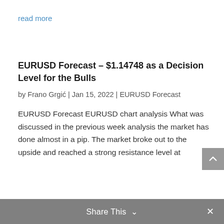read more
EURUSD Forecast – $1.14748 as a Decision Level for the Bulls
by Frano Grgić | Jan 15, 2022 | EURUSD Forecast
EURUSD Forecast EURUSD chart analysis What was discussed in the previous week analysis the market has done almost in a pip. The market broke out to the upside and reached a strong resistance level at
Share This  ×